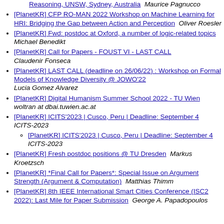[PlanetKR] CFP RO-MAN 2022 Workshop on Machine Learning for HRI: Bridging the Gap between Action and Perception   Oliver Roesler
[PlanetKR] Fwd: postdoc at Oxford, a number of logic-related topics   Michael Benedikt
[PlanetKR] Call for Papers - FOUST VI - LAST CALL   Claudenir Fonseca
[PlanetKR] LAST CALL (deadline on 26/06/22) : Workshop on Formal Models of Knowledge Diversity @ JOWO'22   Lucia Gomez Alvarez
[PlanetKR] Digital Humanism Summer School 2022 - TU Wien   woltran at dbai.tuwien.ac.at
[PlanetKR] ICITS'2023 | Cusco, Peru | Deadline: September 4   ICITS-2023
[PlanetKR] ICITS'2023 | Cusco, Peru | Deadline: September 4   ICITS-2023
[PlanetKR] Fresh postdoc positions @ TU Dresden   Markus Kroetzsch
[PlanetKR] *Final Call for Papers*: Special Issue on Argument Strength (Argument & Computation)   Matthias Thimm
[PlanetKR] 8th IEEE International Smart Cities Conference (ISC2 2022): Last Mile for Paper Submission   George A. Papadopoulos